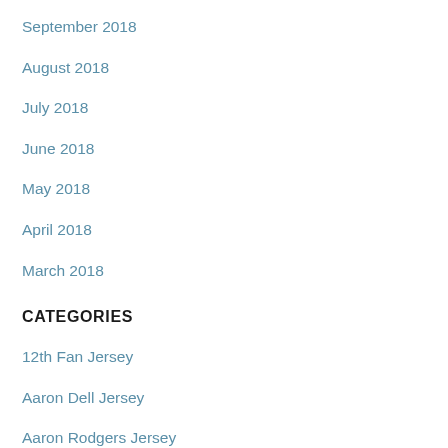September 2018
August 2018
July 2018
June 2018
May 2018
April 2018
March 2018
CATEGORIES
12th Fan Jersey
Aaron Dell Jersey
Aaron Rodgers Jersey
Adam Boqvist Jersey
Adam Shaheen Jersey
Adam Vinatieri Jersey